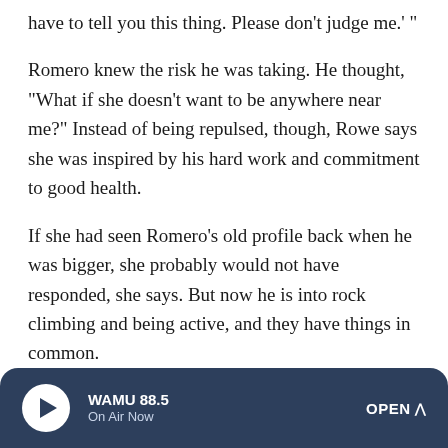have to tell you this thing. Please don't judge me.' "
Romero knew the risk he was taking. He thought, "What if she doesn't want to be anywhere near me?" Instead of being repulsed, though, Rowe says she was inspired by his hard work and commitment to good health.
If she had seen Romero's old profile back when he was bigger, she probably would not have responded, she says. But now he is into rock climbing and being active, and they have things in common.
For Carlos, there are still physical and psychological hurdles to being in love. It's difficult for him to be intimate. He says shyly, "She's seen everything." And when he looks in the
WAMU 88.5 On Air Now OPEN ^